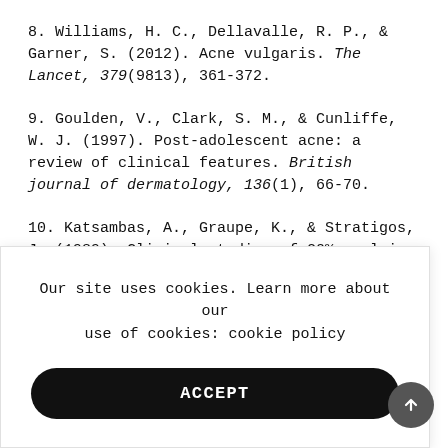8. Williams, H. C., Dellavalle, R. P., & Garner, S. (2012). Acne vulgaris. The Lancet, 379(9813), 361-372.
9. Goulden, V., Clark, S. M., & Cunliffe, W. J. (1997). Post-adolescent acne: a review of clinical features. British journal of dermatology, 136(1), 66-70.
10. Katsambas, A., Graupe, K., & Stratigos, J. (1989). Clinical studies of 20% azelaic acid cream in the treatment of acne vulgaris. Comparison with vehicle and topical tretinoin. Acta [continued...]
[Figure (screenshot): Cookie consent overlay with text 'Our site uses cookies. Learn more about our use of cookies: cookie policy' and an ACCEPT button.]